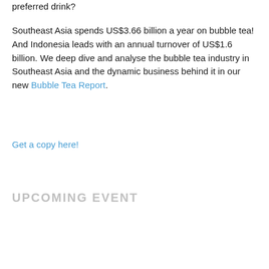preferred drink?
Southeast Asia spends US$3.66 billion a year on bubble tea! And Indonesia leads with an annual turnover of US$1.6 billion. We deep dive and analyse the bubble tea industry in Southeast Asia and the dynamic business behind it in our new Bubble Tea Report.
Get a copy here!
UPCOMING EVENT